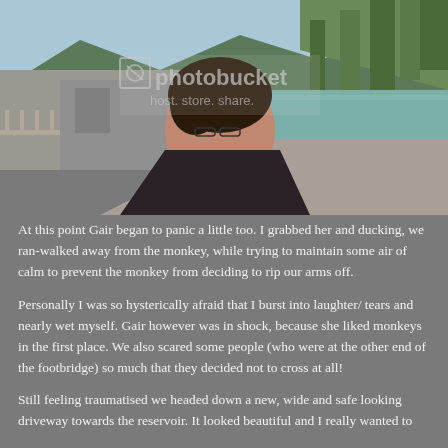[Figure (photo): A woman taking a selfie on a bridge or dam walkway with a reservoir, river, green hills and trees visible in the background. A Photobucket watermark is overlaid on the image.]
At this point Gair began to panic a little too. I grabbed her and ducking, we ran-walked away from the monkey, while trying to maintain some air of calm to prevent the monkey from deciding to rip our arms off.
Personally I was so hysterically afraid that I burst into laughter/ tears and nearly wet myself. Gair however was in shock, because she liked monkeys in the first place. We also scared some people (who were at the other end of the footbridge) so much that they decided not to cross at all!
Still feeling traumatised we headed down a new, wide and safe looking driveway towards the reservoir. It looked beautiful and I really wanted to